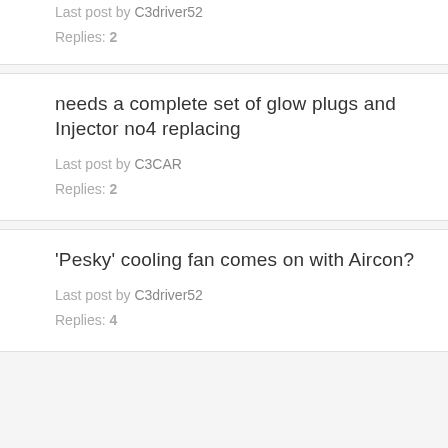Last post by C3driver52
Replies: 2
needs a complete set of glow plugs and Injector no4 replacing
Last post by C3CAR
Replies: 2
'Pesky' cooling fan comes on with Aircon?
Last post by C3driver52
Replies: 4